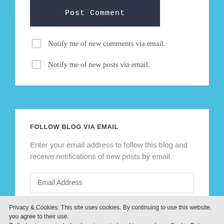[Figure (screenshot): Post Comment button — dark navy background with white monospaced text]
Notify me of new comments via email.
Notify me of new posts via email.
FOLLOW BLOG VIA EMAIL
Enter your email address to follow this blog and receive notifications of new posts by email.
[Figure (screenshot): Email Address input field]
Privacy & Cookies: This site uses cookies. By continuing to use this website, you agree to their use.
To find out more, including how to control cookies, see here: Cookie Policy
[Figure (screenshot): Close and accept button and Follow Mannishin button with 477 count badge]